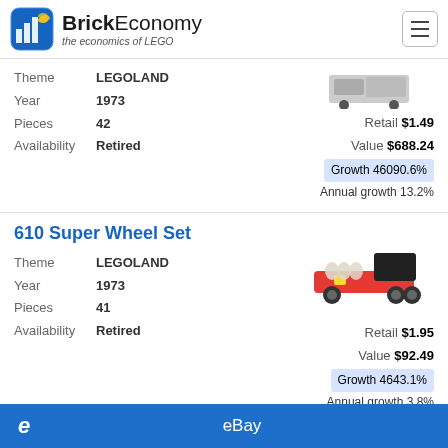BrickEconomy — the economics of LEGO
Theme LEGOLAND
Year 1973
Pieces 42
Availability Retired
Retail $1.49
Value $688.24
Growth 46090.6%
Annual growth 13.2%
610 Super Wheel Set
Theme LEGOLAND
Year 1973
Pieces 41
Availability Retired
[Figure (photo): LEGO Super Wheel Set product photo showing a red and black vehicle]
Retail $1.95
Value $92.49
Growth 4643.1%
Annual growth 3.8%
eBay